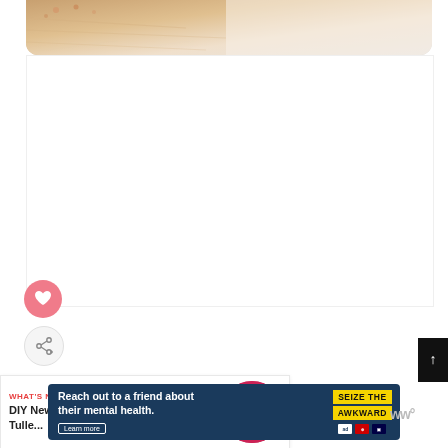[Figure (photo): Close-up photo of skin or fur with warm beige/brown tones and some spots, partially visible at top]
[Figure (illustration): Pink circular heart/like button icon]
[Figure (illustration): Share button icon with circle and plus]
WHAT'S NEXT →
DIY New-Sew Tulle...
[Figure (photo): Circular thumbnail image with pink/magenta craft item (tulle or flowers)]
[Figure (screenshot): Advertisement banner: 'Reach out to a friend about their mental health. Learn more' with SEIZE THE AWKWARD branding and logos]
[Figure (logo): Site logo in gray at bottom right]